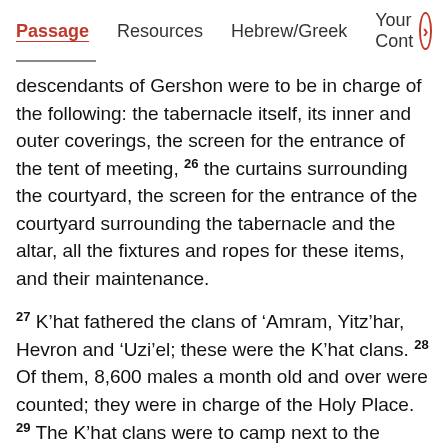Passage  Resources  Hebrew/Greek  Your Cont >
descendants of Gershon were to be in charge of the following: the tabernacle itself, its inner and outer coverings, the screen for the entrance of the tent of meeting, 26 the curtains surrounding the courtyard, the screen for the entrance of the courtyard surrounding the tabernacle and the altar, all the fixtures and ropes for these items, and their maintenance.
27 K’hat fathered the clans of ‘Amram, Yitz’har, Hevron and ‘Uzi’el; these were the K’hat clans. 28 Of them, 8,600 males a month old and over were counted; they were in charge of the Holy Place. 29 The K’hat clans were to camp next to the tabernacle, toward the south. 30 The chief of the K’hat clan was Elitzafan the son of ‘Uzi’el. 31 They